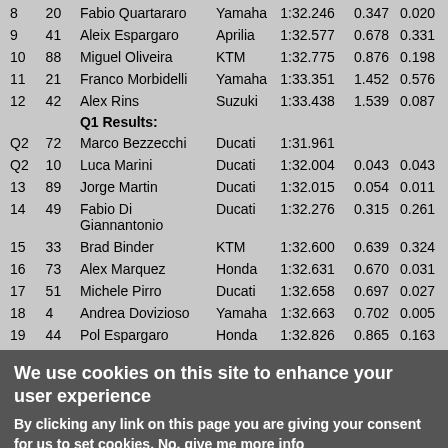| Pos | # | Rider | Bike | Time | Gap | Int |
| --- | --- | --- | --- | --- | --- | --- |
| 8 | 20 | Fabio Quartararo | Yamaha | 1:32.246 | 0.347 | 0.020 |
| 9 | 41 | Aleix Espargaro | Aprilia | 1:32.577 | 0.678 | 0.331 |
| 10 | 88 | Miguel Oliveira | KTM | 1:32.775 | 0.876 | 0.198 |
| 11 | 21 | Franco Morbidelli | Yamaha | 1:33.351 | 1.452 | 0.576 |
| 12 | 42 | Alex Rins | Suzuki | 1:33.438 | 1.539 | 0.087 |
|  |  | Q1 Results: |  |  |  |  |
| Q2 | 72 | Marco Bezzecchi | Ducati | 1:31.961 |  |  |
| Q2 | 10 | Luca Marini | Ducati | 1:32.004 | 0.043 | 0.043 |
| 13 | 89 | Jorge Martin | Ducati | 1:32.015 | 0.054 | 0.011 |
| 14 | 49 | Fabio Di Giannantonio | Ducati | 1:32.276 | 0.315 | 0.261 |
| 15 | 33 | Brad Binder | KTM | 1:32.600 | 0.639 | 0.324 |
| 16 | 73 | Alex Marquez | Honda | 1:32.631 | 0.670 | 0.031 |
| 17 | 51 | Michele Pirro | Ducati | 1:32.658 | 0.697 | 0.027 |
| 18 | 4 | Andrea Dovizioso | Yamaha | 1:32.663 | 0.702 | 0.005 |
| 19 | 44 | Pol Espargaro | Honda | 1:32.826 | 0.865 | 0.163 |
We use cookies on this site to enhance your user experience
By clicking any link on this page you are giving your consent for us to set cookies. No, give me more info